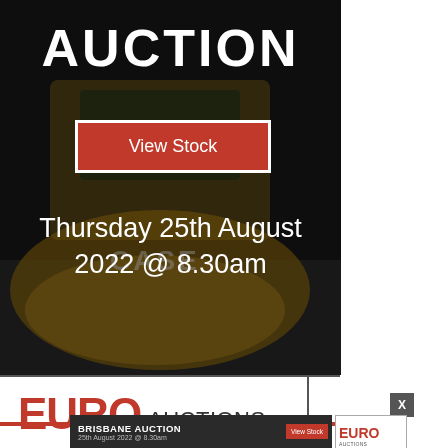[Figure (photo): Dark background photo of a yellow CASE construction roller/compactor machine. The image fills the upper-left banner area.]
AUCTION
View Stock
Thursday 25th August 2022 @ 8.30am
[Figure (logo): Euro Auctions logo in red bold text with AUCTIONS in grey/black]
BRISBANE AUCTION
25th August 2022 @ 8.30am
View Stock
[Figure (logo): Small Euro Auctions logo]